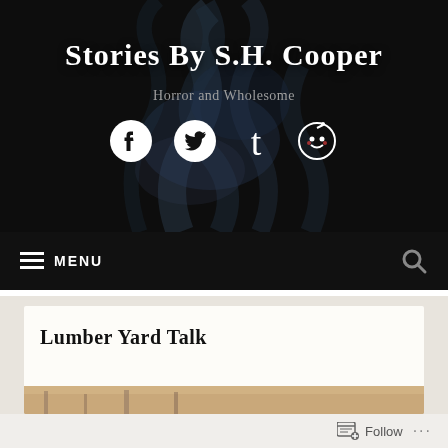Stories By S.H. Cooper
Horror and Wholesome
[Figure (illustration): Social media icons: Facebook, Twitter, Tumblr, Reddit displayed in white on dark smoky background]
≡ MENU
Lumber Yard Talk
[Figure (photo): Partial view of outdoor lumber yard scene, warm tones]
Follow